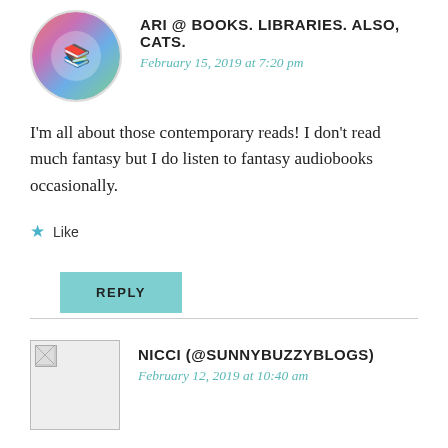[Figure (photo): Circular avatar photo of Ari @ Books. Libraries. Also, Cats. showing a woman with colorful books]
ARI @ BOOKS. LIBRARIES. ALSO, CATS.
February 15, 2019 at 7:20 pm
I'm all about those contemporary reads! I don't read much fantasy but I do listen to fantasy audiobooks occasionally.
★ Like
REPLY
[Figure (photo): Square avatar placeholder image (broken image) for Nicci (@SunnyBuzzyBlogs)]
NICCI (@SUNNYBUZZYBLOGS)
February 12, 2019 at 10:40 am
I really need to read Josh and Hazel… I hear so many good things about it!